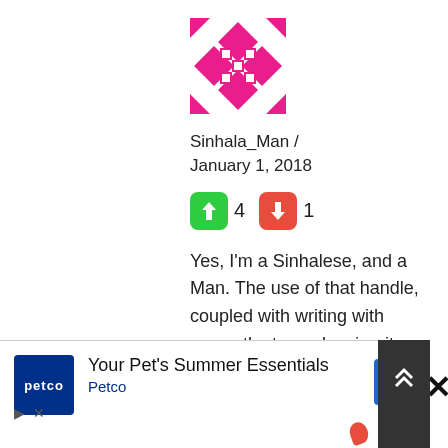[Figure (illustration): Pink/magenta geometric avatar icon with diamond/square pattern]
Sinhala_Man / January 1, 2018
[Figure (infographic): Thumbs up green button with count 4, thumbs down red button with count 1]
Yes, I'm a Sinhalese, and a Man. The use of that handle, coupled with writing with sympathy towards minority group was my stratagem for getting
[Figure (infographic): Ad banner: Petco - Your Pet's Summer Essentials with navigation icons and scroll-up button]